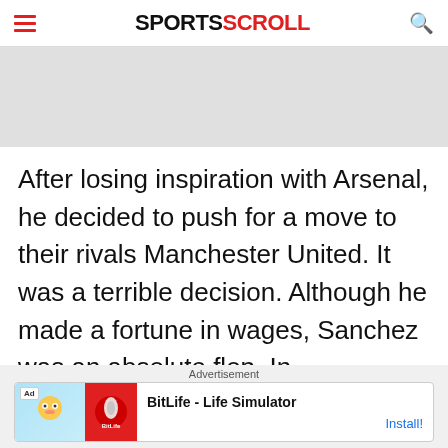SPORTSCROLL
[Figure (other): Gray advertisement banner placeholder]
After losing inspiration with Arsenal, he decided to push for a move to their rivals Manchester United. It was a terrible decision. Although he made a fortune in wages, Sanchez was an absolute flop. In
Advertisement
[Figure (other): BitLife - Life Simulator app advertisement banner with Install button]